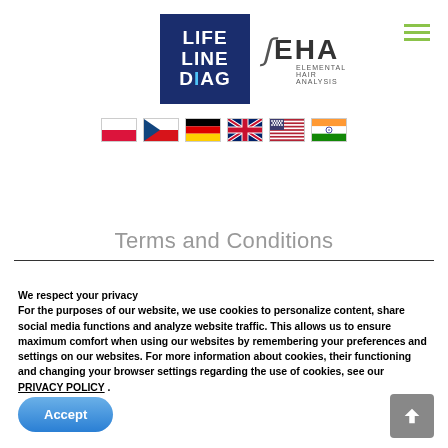[Figure (logo): Lifeline Diag logo - dark blue square with white text LIFE LINE DIAG]
[Figure (logo): FEHA Elemental Hair Analysis logo]
[Figure (infographic): Country flag icons: Poland, Czech Republic, Germany, UK, USA, India]
Terms and Conditions
We respect your privacy
For the purposes of our website, we use cookies to personalize content, share social media functions and analyze website traffic. This allows us to ensure maximum comfort when using our websites by remembering your preferences and settings on our websites. For more information about cookies, their functioning and changing your browser settings regarding the use of cookies, see our PRIVACY POLICY .